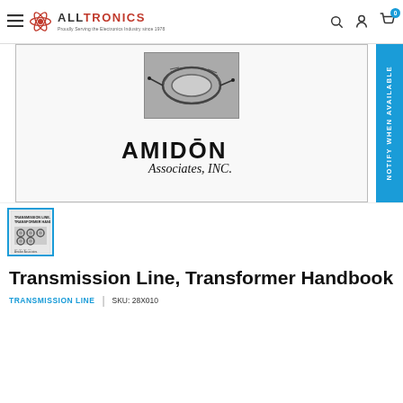ALLTRONICS — Proudly Serving the Electronics Industry since 1978
[Figure (photo): Product main image: book cover showing toroid coil photo and Amidon Associates Inc. logo]
[Figure (photo): Thumbnail of Transmission Line Transformer Handbook book cover]
Transmission Line, Transformer Handbook
TRANSMISSION LINE | SKU: 28X010